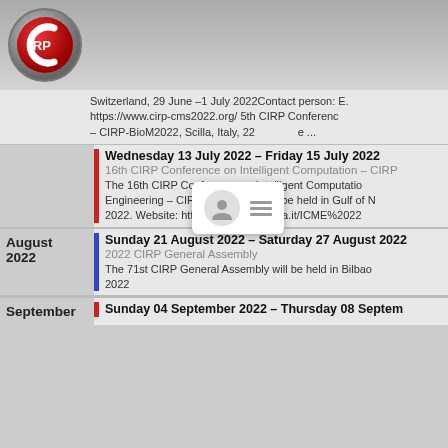[Figure (logo): CIRP logo — red circle with C and IRP text in white]
Switzerland, 29 June –1 July 2022Contact person: E. ... https://www.cirp-cms2022.org/ 5th CIRP Conference – CIRP-BioM2022, Scilla, Italy, 22 e ...
Wednesday 13 July 2022 – Friday 15 July 2022
16th CIRP Conference on Intelligent Computation – CIRP...
The 16th CIRP Conference on Intelligent Computation Engineering – CIRP ICME 2022 will be held in Gulf of N 2022. Website: http://www.icme.unina.it/ICME%202...
August 2022
Sunday 21 August 2022 – Saturday 27 August 2022
2022 CIRP General Assembly
The 71st CIRP General Assembly will be held in Bilbao 2022
September
Sunday 04 September 2022 – Thursday 08 September...